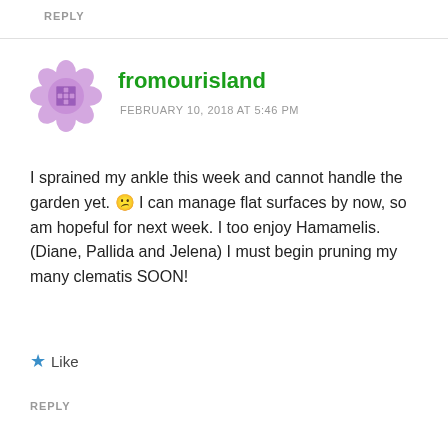REPLY
[Figure (illustration): WordPress-style avatar icon: purple flower/gear shape with a small grid icon in the center]
fromourisland
FEBRUARY 10, 2018 AT 5:46 PM
I sprained my ankle this week and cannot handle the garden yet. 😕 I can manage flat surfaces by now, so am hopeful for next week. I too enjoy Hamamelis. (Diane, Pallida and Jelena) I must begin pruning my many clematis SOON!
★ Like
REPLY